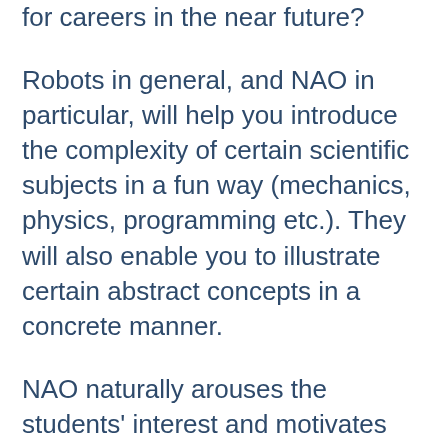for careers in the near future?
Robots in general, and NAO in particular, will help you introduce the complexity of certain scientific subjects in a fun way (mechanics, physics, programming etc.). They will also enable you to illustrate certain abstract concepts in a concrete manner.
NAO naturally arouses the students' interest and motivates them to get actively involved in learning through projects and teamwork.
NAO comes with its